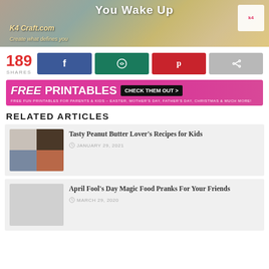[Figure (photo): K4Craft.com website banner with baked goods - bread rolls and lemon glazed cake. Text reads 'You Wake Up', site name 'K4 Craft.com', tagline 'Create what defines you']
189 SHARES
[Figure (infographic): Social share buttons: Facebook (blue), WhatsApp (green), Pinterest (red), Share (grey)]
[Figure (infographic): FREE PRINTABLES banner - pink/magenta background, white text 'FREE PRINTABLES', black button 'CHECK THEM OUT >', subtext about free fun printables for parents & kids]
RELATED ARTICLES
[Figure (photo): Thumbnail grid image of peanut butter recipes]
Tasty Peanut Butter Lover's Recipes for Kids
JANUARY 29, 2021
[Figure (photo): Thumbnail image placeholder for April Fool's Day article]
April Fool's Day Magic Food Pranks For Your Friends
MARCH 29, 2020